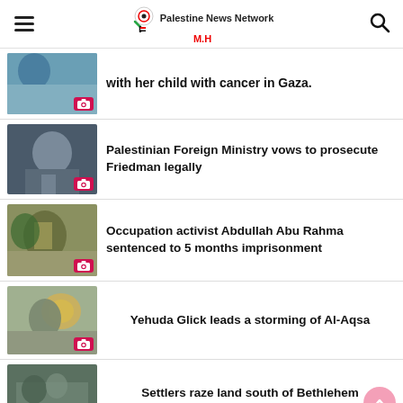Palestine News Network M.H
with her child with cancer in Gaza.
Palestinian Foreign Ministry vows to prosecute Friedman legally
Occupation activist Abdullah Abu Rahma sentenced to 5 months imprisonment
Yehuda Glick leads a storming of Al-Aqsa
Settlers raze land south of Bethlehem